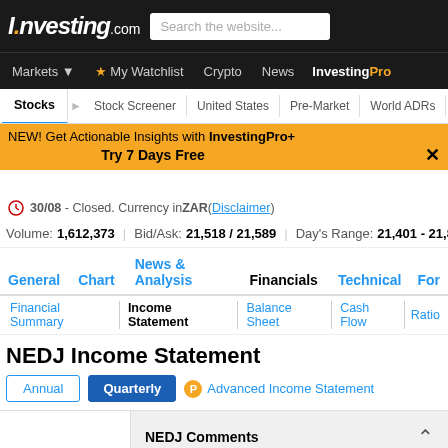Investing.com | Search the website...
Markets | My Watchlist | Crypto | News | InvestingPro
Stocks | Stock Screener | United States | Pre-Market | World ADRs
NEW! Get Actionable Insights with InvestingPro+ Try 7 Days Free
30/08 - Closed. Currency in ZAR ( Disclaimer )
Volume: 1,612,373 | Bid/Ask: 21,518 / 21,589 | Day's Range: 21,401 - 21,882
General | Chart | News & Analysis | Financials | Technical | For...
Financial Summary | Income Statement | Balance Sheet | Cash Flow | Ratio...
NEDJ Income Statement
Annual | Quarterly | Advanced Income Statement
NEDJ Comments